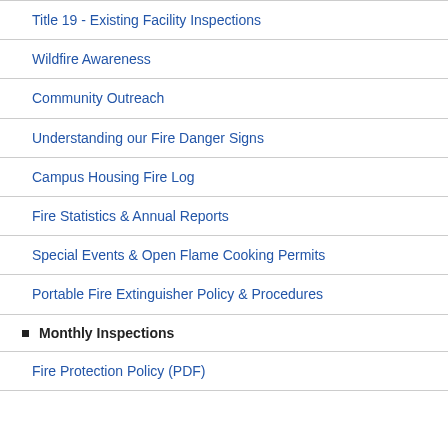Title 19 - Existing Facility Inspections
Wildfire Awareness
Community Outreach
Understanding our Fire Danger Signs
Campus Housing Fire Log
Fire Statistics & Annual Reports
Special Events & Open Flame Cooking Permits
Portable Fire Extinguisher Policy & Procedures
Monthly Inspections
Fire Protection Policy (PDF)